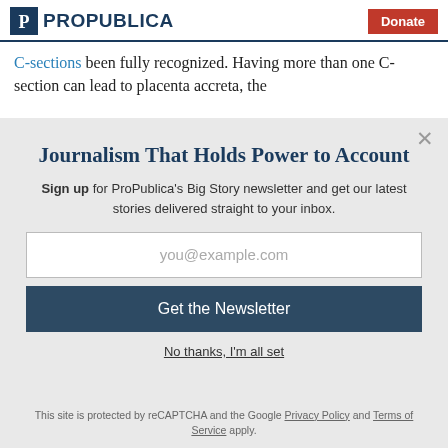ProPublica | Donate
C-sections been fully recognized. Having more than one C-section can lead to placenta accreta, the
Journalism That Holds Power to Account
Sign up for ProPublica's Big Story newsletter and get our latest stories delivered straight to your inbox.
you@example.com
Get the Newsletter
No thanks, I'm all set
This site is protected by reCAPTCHA and the Google Privacy Policy and Terms of Service apply.